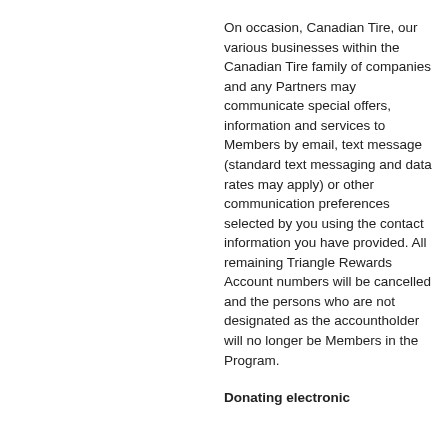On occasion, Canadian Tire, our various businesses within the Canadian Tire family of companies and any Partners may communicate special offers, information and services to Members by email, text message (standard text messaging and data rates may apply) or other communication preferences selected by you using the contact information you have provided. All remaining Triangle Rewards Account numbers will be cancelled and the persons who are not designated as the accountholder will no longer be Members in the Program.
Donating electronic